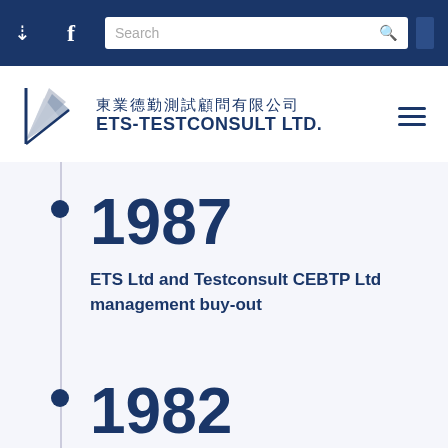ETS-TESTCONSULT LTD. 東業德勤測試顧問有限公司
[Figure (logo): ETS-Testconsult Ltd logo with stylized flag/wing graphic and Chinese and English company name]
1987
ETS Ltd and Testconsult CEBTP Ltd management buy-out
1982